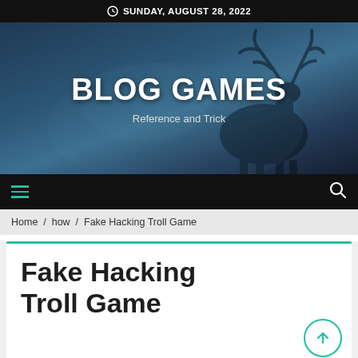SUNDAY, AUGUST 28, 2022
[Figure (illustration): Blog Games website hero banner with dark blue background showing silhouette of a deer/elk with antlers, large bold white text BLOG GAMES and subtitle Reference and Trick]
BLOG GAMES – Reference and Trick
Home / how / Fake Hacking Troll Game
Fake Hacking Troll Game